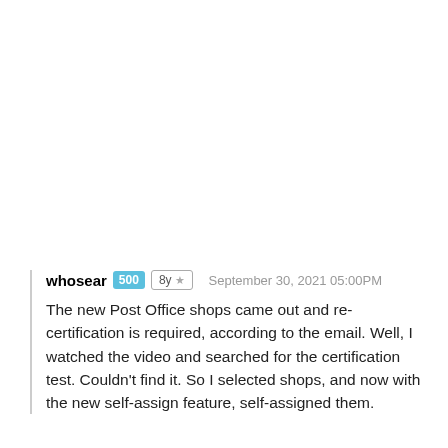whosear 500 8y ★  September 30, 2021 05:00PM

The new Post Office shops came out and re-certification is required, according to the email. Well, I watched the video and searched for the certification test. Couldn't find it. So I selected shops, and now with the new self-assign feature, self-assigned them.